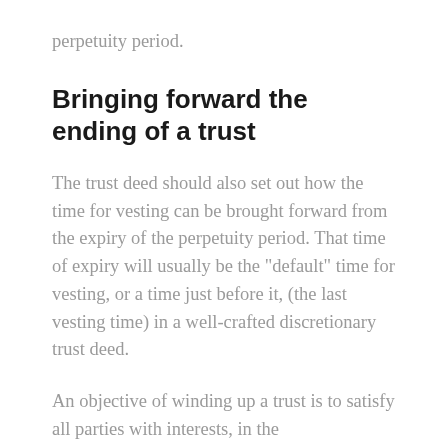perpetuity period.
Bringing forward the ending of a trust
The trust deed should also set out how the time for vesting can be brought forward from the expiry of the perpetuity period. That time of expiry will usually be the "default" time for vesting, or a time just before it, (the last vesting time) in a well-crafted discretionary trust deed.
An objective of winding up a trust is to satisfy all parties with interests, in the